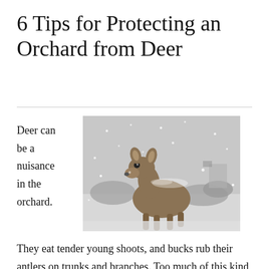6 Tips for Protecting an Orchard from Deer
[Figure (photo): A deer standing in a snowy outdoor scene, with snow-covered ground and bushes in the background. The deer faces the camera.]
Deer can be a nuisance in the orchard.
They eat tender young shoots, and bucks rub their antlers on trunks and branches. Too much of this kind of mauling may even kill